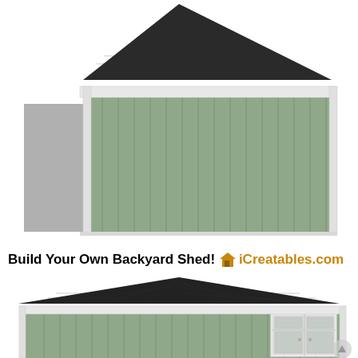[Figure (illustration): Architectural illustration of a backyard shed from rear/side angle — hip roof with dark shingles, white trim fascia, sage green vertical board siding, gray shadow on left side]
Build Your Own Backyard Shed! iCreatables.com
[Figure (illustration): Architectural illustration of the same backyard shed from a 3/4 front angle — hip roof with dark shingles, white trim, sage green siding, double white-framed windows visible on right side]